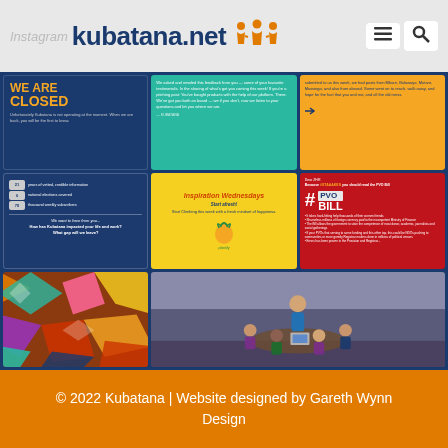Instagram kubatana.net
[Figure (screenshot): Instagram grid view of kubatana.net posts, showing 8 posts in a 3x3 grid including: WE ARE CLOSED post, teal text post, orange text post, stats post, Inspiration Wednesdays post, #PVO BILL post, textile photo, and classroom photo]
© 2022 Kubatana | Website designed by Gareth Wynn Design